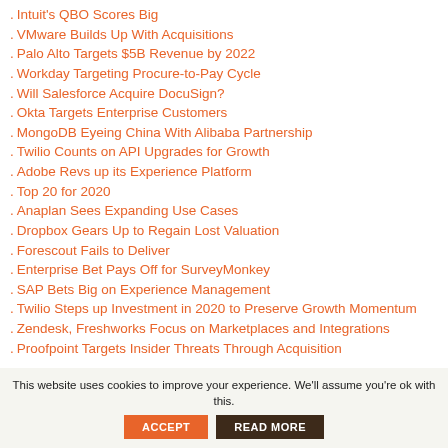Intuit's QBO Scores Big
VMware Builds Up With Acquisitions
Palo Alto Targets $5B Revenue by 2022
Workday Targeting Procure-to-Pay Cycle
Will Salesforce Acquire DocuSign?
Okta Targets Enterprise Customers
MongoDB Eyeing China With Alibaba Partnership
Twilio Counts on API Upgrades for Growth
Adobe Revs up its Experience Platform
Top 20 for 2020
Anaplan Sees Expanding Use Cases
Dropbox Gears Up to Regain Lost Valuation
Forescout Fails to Deliver
Enterprise Bet Pays Off for SurveyMonkey
SAP Bets Big on Experience Management
Twilio Steps up Investment in 2020 to Preserve Growth Momentum
Zendesk, Freshworks Focus on Marketplaces and Integrations
Proofpoint Targets Insider Threats Through Acquisition
This website uses cookies to improve your experience. We'll assume you're ok with this.